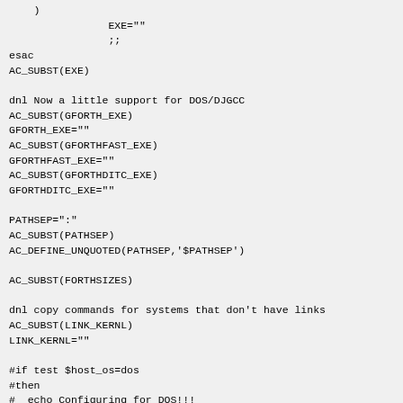)
                EXE=""
                ;;
esac
AC_SUBST(EXE)

dnl Now a little support for DOS/DJGCC
AC_SUBST(GFORTH_EXE)
GFORTH_EXE=""
AC_SUBST(GFORTHFAST_EXE)
GFORTHFAST_EXE=""
AC_SUBST(GFORTHDITC_EXE)
GFORTHDITC_EXE=""

PATHSEP=":"
AC_SUBST(PATHSEP)
AC_DEFINE_UNQUOTED(PATHSEP,'$PATHSEP')

AC_SUBST(FORTHSIZES)

dnl copy commands for systems that don't have links
AC_SUBST(LINK_KERNL)
LINK_KERNL=""

#if test $host_os=dos
#then
#  echo Configuring for DOS!!!
#  MAKE_EXE="coff2exe gforth"
#  LINK_KERNL='$(CP) kern1321.fi kernel.fi'
#fi